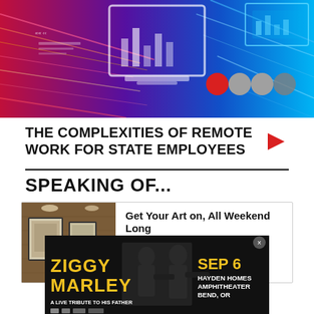[Figure (photo): Abstract technology background with light trails, digital icons, bar charts, circles in red/gray/teal on a blue/purple motion-blur background]
THE COMPLEXITIES OF REMOTE WORK FOR STATE EMPLOYEES
SPEAKING OF...
[Figure (photo): Art gallery interior showing framed artwork hung on wooden walls]
Get Your Art on, All Weekend Long
Jun 2, 2021
[Figure (photo): Ziggy Marley concert advertisement — 'A Live Tribute to His Father', SEP 6, Hayden Homes Amphitheater, Bend, OR. Dark background with musicians playing guitars.]